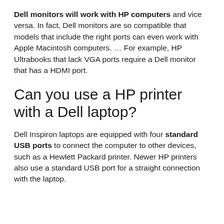Dell monitors will work with HP computers and vice versa. In fact, Dell monitors are so compatible that models that include the right ports can even work with Apple Macintosh computers. … For example, HP Ultrabooks that lack VGA ports require a Dell monitor that has a HDMI port.
Can you use a HP printer with a Dell laptop?
Dell Inspiron laptops are equipped with four standard USB ports to connect the computer to other devices, such as a Hewlett Packard printer. Newer HP printers also use a standard USB port for a straight connection with the laptop.